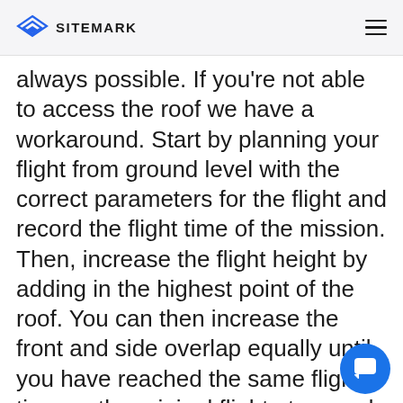SITEMARK
always possible. If you're not able to access the roof we have a workaround. Start by planning your flight from ground level with the correct parameters for the flight and record the flight time of the mission. Then, increase the flight height by adding in the highest point of the roof. You can then increase the front and side overlap equally until you have reached the same flight time as the original flight at ground level. The flight time is a direct result of the number of photos that are taken, more